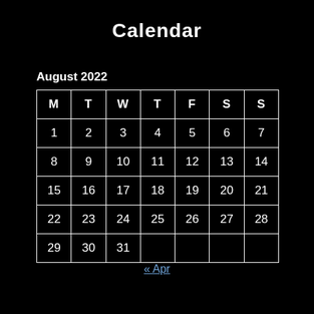Calendar
August 2022
| M | T | W | T | F | S | S |
| --- | --- | --- | --- | --- | --- | --- |
| 1 | 2 | 3 | 4 | 5 | 6 | 7 |
| 8 | 9 | 10 | 11 | 12 | 13 | 14 |
| 15 | 16 | 17 | 18 | 19 | 20 | 21 |
| 22 | 23 | 24 | 25 | 26 | 27 | 28 |
| 29 | 30 | 31 |  |  |  |  |
« Apr